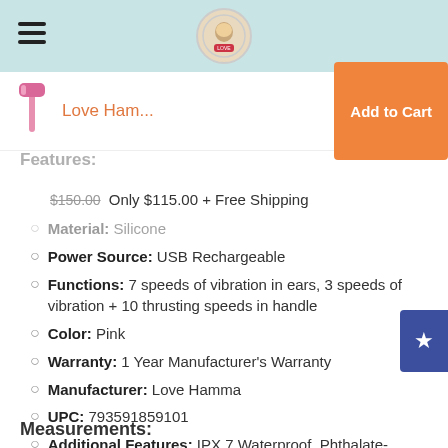Love Hamma store header with hamburger menu and logo
Love Ham...
Add to Cart
Features:
$150.00 Only $115.00 + Free Shipping
Material: Silicone
Power Source: USB Rechargeable
Functions: 7 speeds of vibration in ears, 3 speeds of vibration + 10 thrusting speeds in handle
Color: Pink
Warranty: 1 Year Manufacturer's Warranty
Manufacturer: Love Hamma
UPC: 793591859101
Additional Features: IPX 7 Waterproof, Phthalate-Free, Non-Porous
Measurements: